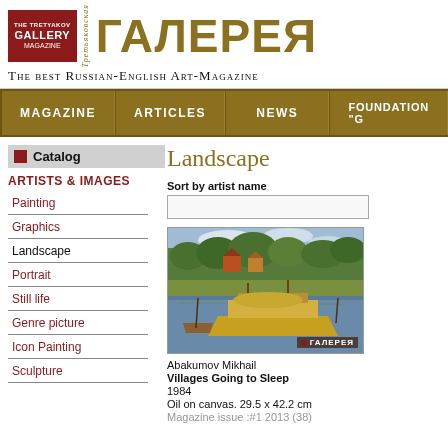[Figure (logo): The Tretyakov Gallery Magazine logo with red box and Cyrillic ГАЛЕРЕЯ text]
THE BEST RUSSIAN-ENGLISH ART-MAGAZINE
MAGAZINE | ARTICLES | NEWS | FOUNDATION
Catalog
ARTISTS & IMAGES
Painting
Graphics
Landscape
Portrait
Still life
Genre picture
Icon Painting
Sculpture
Landscape
Sort by artist name
[Figure (photo): Painting of a riverside village scene with boats and buildings, watermarked with ГАЛЕРЕЯ]
Abakumov Mikhail
Villages Going to Sleep
1984
Oil on canvas. 29.5 x 42.2 cm
Magazine issue :#1 2013 (38)